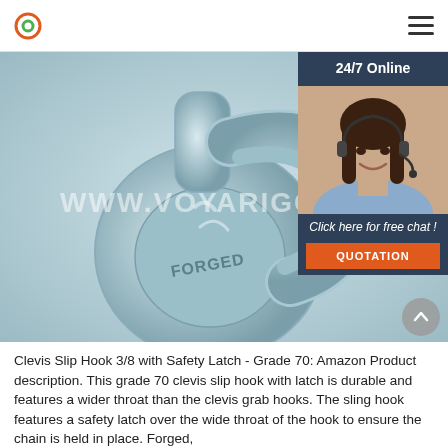voyarigging.com logo and navigation
[Figure (photo): Close-up photograph of a galvanized forged clevis slip hook with safety latch, Grade 70. The hook is metallic silver/blue-gray in color with 'FORGED' stamped on the body. Watermark text 'WWW.VOYARIGGING' overlays the image. A 24/7 online customer service chat widget is shown in the upper right corner with a photo of a woman with a headset.]
Clevis Slip Hook 3/8 with Safety Latch - Grade 70: Amazon Product description. This grade 70 clevis slip hook with latch is durable and features a wider throat than the clevis grab hooks. The sling hook features a safety latch over the wide throat of the hook to ensure the chain is held in place. Forged,